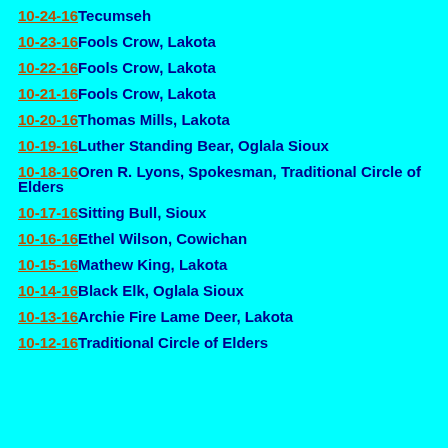10-24-16 Tecumseh
10-23-16 Fools Crow, Lakota
10-22-16 Fools Crow, Lakota
10-21-16 Fools Crow, Lakota
10-20-16 Thomas Mills, Lakota
10-19-16 Luther Standing Bear, Oglala Sioux
10-18-16 Oren R. Lyons, Spokesman, Traditional Circle of Elders
10-17-16 Sitting Bull, Sioux
10-16-16 Ethel Wilson, Cowichan
10-15-16 Mathew King, Lakota
10-14-16 Black Elk, Oglala Sioux
10-13-16 Archie Fire Lame Deer, Lakota
10-12-16 Traditional Circle of Elders